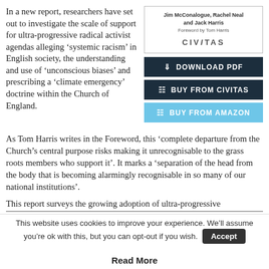In a new report, researchers have set out to investigate the scale of support for ultra-progressive radical activist agendas alleging ‘systemic racism’ in English society, the understanding and use of ‘unconscious biases’ and prescribing a ‘climate emergency’ doctrine within the Church of England.
[Figure (other): Book cover showing authors Jim McConalogue, Rachel Neal and Jack Harris, Foreword by Tom Harris, published by CIVITAS]
[Figure (other): Download PDF button (dark navy)]
[Figure (other): Buy from Civitas button (dark navy)]
[Figure (other): Buy from Amazon button (light blue)]
As Tom Harris writes in the Foreword, this ‘complete departure from the Church’s central purpose risks making it unrecognisable to the grass roots members who support it’. It marks a ‘separation of the head from the body that is becoming alarmingly recognisable in so many of our national institutions’.
This report surveys the growing adoption of ultra-progressive
This website uses cookies to improve your experience. We’ll assume you’re ok with this, but you can opt-out if you wish.
Read More